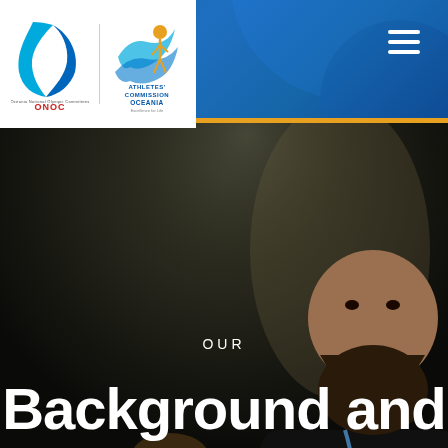[Figure (photo): Two male athletes wearing black jackets and blue lanyards/medals, standing on what appears to be a sports venue floor. The man on the left is looking upward, the bearded man on the right faces forward. Dark atmospheric background.]
[Figure (logo): ONOC (Oceania National Olympic Committees) logo on the left with blue flame/leaf shape and Olympic rings, and Athletes' Commission Oceania logo on the right with stylized figure, on a white background panel.]
OUR
Background and